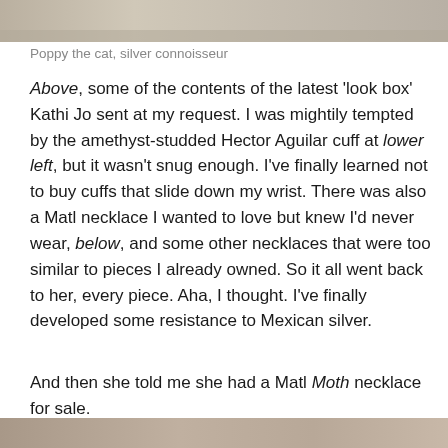[Figure (photo): Top portion of a photo showing a cat (Poppy), partially cropped at the top of the page]
Poppy the cat, silver connoisseur
Above, some of the contents of the latest 'look box' Kathi Jo sent at my request. I was mightily tempted by the amethyst-studded Hector Aguilar cuff at lower left, but it wasn't snug enough. I've finally learned not to buy cuffs that slide down my wrist. There was also a Matl necklace I wanted to love but knew I'd never wear, below, and some other necklaces that were too similar to pieces I already owned. So it all went back to her, every piece. Aha, I thought. I've finally developed some resistance to Mexican silver.
And then she told me she had a Matl Moth necklace for sale.
[Figure (photo): Bottom portion of a photo, partially cropped at the bottom of the page]